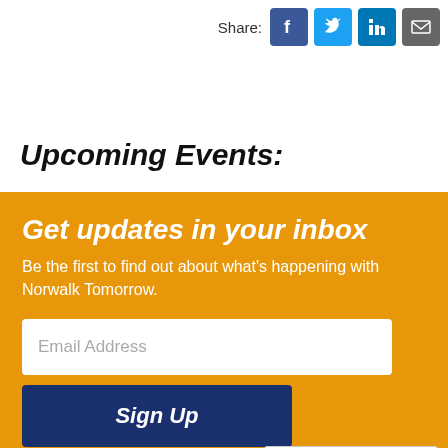[Figure (infographic): Share icons for Facebook, Twitter, LinkedIn, and Email with 'Share:' label]
Upcoming Events:
Get updates in your inbox
Be the first to find out about what's happening with Norwalk Tomorrow.
[Figure (infographic): Email Address input field (text box)]
[Figure (infographic): Sign Up button in dark navy blue]
[Figure (logo): Google Translate widget with G logo and 'Select Language' dropdown]